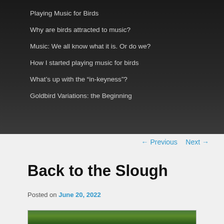Playing Music for Birds
Why are birds attracted to music?
Music: We all know what it is. Or do we?
How I started playing music for birds
What's up with the “in-keyness”?
Goldbird Variations: the Beginning
← Previous   Next →
Back to the Slough
Posted on June 20, 2022
[Figure (photo): Partial view of a nature/outdoor photo showing green vegetation, visible at bottom of page]